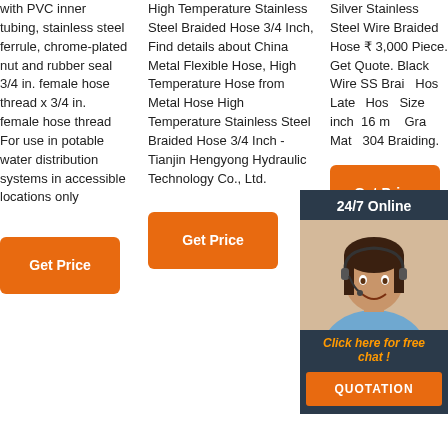with PVC inner tubing, stainless steel ferrule, chrome-plated nut and rubber seal 3/4 in. female hose thread x 3/4 in. female hose thread For use in potable water distribution systems in accessible locations only
High Temperature Stainless Steel Braided Hose 3/4 Inch, Find details about China Metal Flexible Hose, High Temperature Hose from Metal Hose High Temperature Stainless Steel Braided Hose 3/4 Inch - Tianjin Hengyong Hydraulic Technology Co., Ltd.
Silver Stainless Steel Wire Braided Hose ₹ 3,000 Piece. Get Quote. Black Wire SS Braided Hose Latex Hose Size: 3/4 inch, 1/2 inch, 16 mm, Grade Material: 304 Braiding.
[Figure (photo): Chat widget with woman wearing headset, '24/7 Online' banner, 'Click here for free chat!' text, and QUOTATION button]
Get Price
Get Price
Get Price